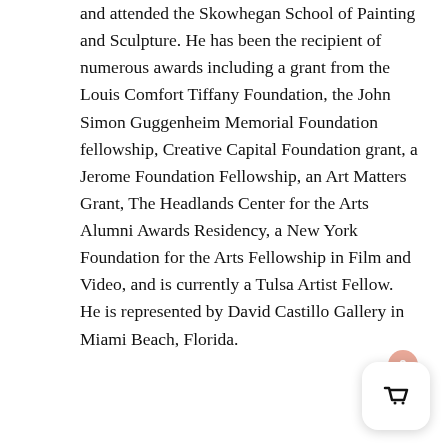and attended the Skowhegan School of Painting and Sculpture. He has been the recipient of numerous awards including a grant from the Louis Comfort Tiffany Foundation, the John Simon Guggenheim Memorial Foundation fellowship, Creative Capital Foundation grant, a Jerome Foundation Fellowship, an Art Matters Grant, The Headlands Center for the Arts Alumni Awards Residency, a New York Foundation for the Arts Fellowship in Film and Video, and is currently a Tulsa Artist Fellow. He is represented by David Castillo Gallery in Miami Beach, Florida.